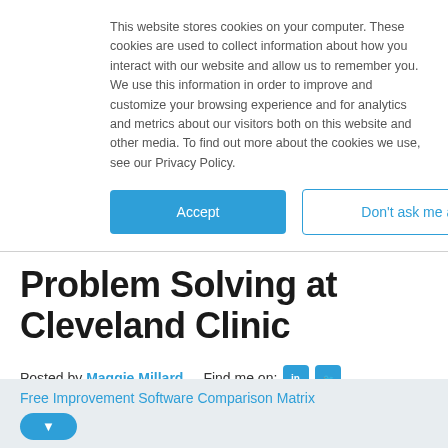This website stores cookies on your computer. These cookies are used to collect information about how you interact with our website and allow us to remember you. We use this information in order to improve and customize your browsing experience and for analytics and metrics about our visitors both on this website and other media. To find out more about the cookies we use, see our Privacy Policy.
Accept | Don't ask me again
Problem Solving at Cleveland Clinic
Posted by Maggie Millard   Find me on:
Jun 14, 2019 12:07:15 PM
Tweet  Share
Free Improvement Software Comparison Matrix